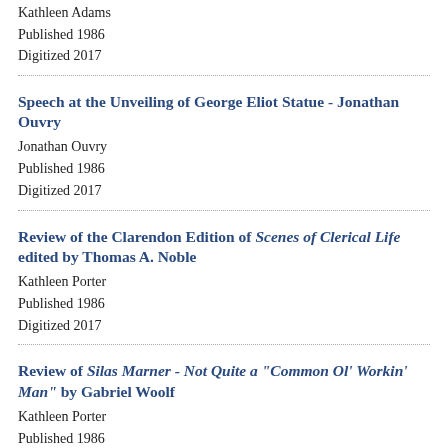Kathleen Adams
Published 1986
Digitized 2017
Speech at the Unveiling of George Eliot Statue - Jonathan Ouvry
Jonathan Ouvry
Published 1986
Digitized 2017
Review of the Clarendon Edition of Scenes of Clerical Life edited by Thomas A. Noble
Kathleen Porter
Published 1986
Digitized 2017
Review of Silas Marner - Not Quite a "Common Ol' Workin' Man" by Gabriel Woolf
Kathleen Porter
Published 1986
Digitized 2017